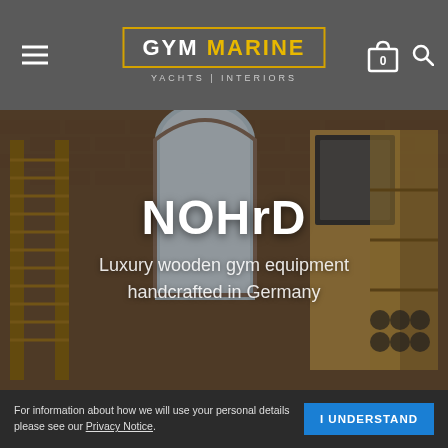[Figure (screenshot): Gym Marine website header with hamburger menu on left, logo in center (GYM MARINE / YACHTS | INTERIORS with yellow border), and cart/search icons on right, on a grey background.]
[Figure (photo): Interior photo of a gym with wooden exercise equipment including wall bars/ladder, an arched window, shelving units, and various fitness apparatus in a brick-walled room.]
NOHrD
Luxury wooden gym equipment handcrafted in Germany
For information about how we will use your personal details please see our Privacy Notice.
I UNDERSTAND